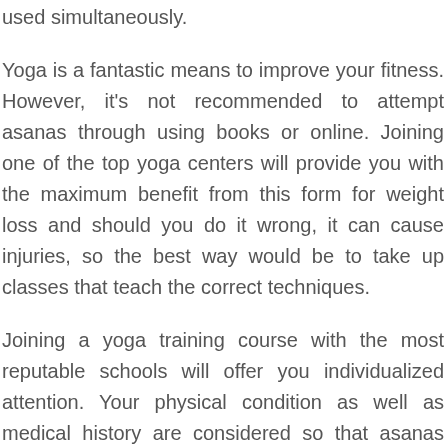used simultaneously.
Yoga is a fantastic means to improve your fitness. However, it's not recommended to attempt asanas through using books or online. Joining one of the top yoga centers will provide you with the maximum benefit from this form for weight loss and should you do it wrong, it can cause injuries, so the best way would be to take up classes that teach the correct techniques.
Joining a yoga training course with the most reputable schools will offer you individualized attention. Your physical condition as well as medical history are considered so that asanas tailored for maximum benefit